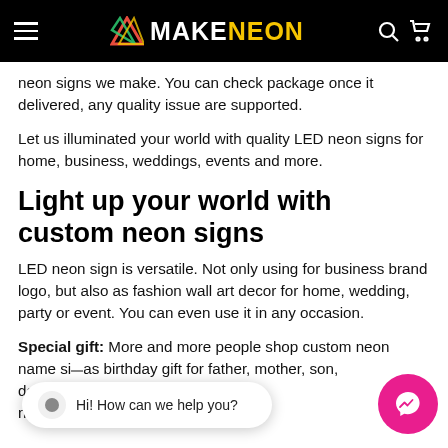MAKENEON
neon signs we make. You can check package once it delivered, any quality issue are supported.
Let us illuminated your world with quality LED neon signs for home, business, weddings, events and more.
Light up your world with custom neon signs
LED neon sign is versatile. Not only using for business brand logo, but also as fashion wall art decor for home, wedding, party or event. You can even use it in any occasion.
Special gift: More and more people shop custom neon name signs as birthday gift for father, mother, son, daughter, nephew or niece. The most popular font for custom neon name sign is Cursive font.